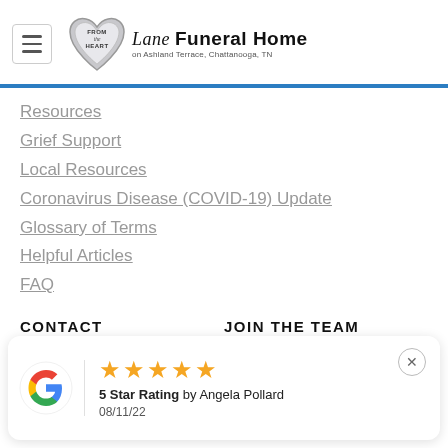[Figure (logo): Lane Funeral Home logo with heart shape and 'From the Heart' text, hamburger menu icon on left]
Resources
Grief Support
Local Resources
Coronavirus Disease (COVID-19) Update
Glossary of Terms
Helpful Articles
FAQ
CONTACT
JOIN THE TEAM
Contact Us
Join The Team
[Figure (other): Google review card with 5 stars rating by Angela Pollard, dated 08/11/22]